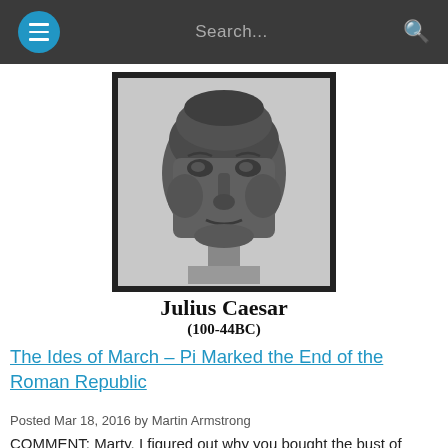☰  Search...  🔍
[Figure (photo): Bronze bust sculpture of Julius Caesar, dark patina, displayed on a pedestal against a light gray background]
Julius Caesar
(100-44BC)
The Ides of March – Pi Marked the End of the Roman Republic
Posted Mar 18, 2016 by Martin Armstrong
COMMENT: Marty, I figured out why you bought the bust of Julius Caesar commissioned by Cleopatra. He was assassinated on the ides of march and that is effectively [...]